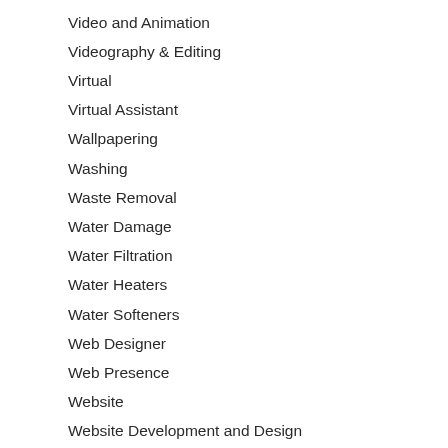Video and Animation
Videography & Editing
Virtual
Virtual Assistant
Wallpapering
Washing
Waste Removal
Water Damage
Water Filtration
Water Heaters
Water Softeners
Web Designer
Web Presence
Website
Website Development and Design